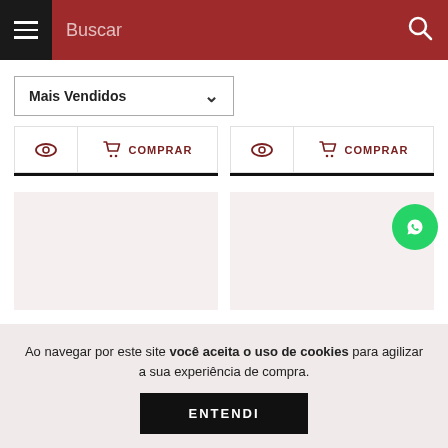Buscar
Mais Vendidos
[Figure (screenshot): Product action row with eye icon and COMPRAR button (left product)]
[Figure (screenshot): Product action row with eye icon and COMPRAR button (right product)]
[Figure (illustration): Product image placeholder - light pink/beige background (left)]
[Figure (illustration): Product image placeholder - light pink/beige background (right)]
Ao navegar por este site você aceita o uso de cookies para agilizar a sua experiência de compra.
ENTENDI